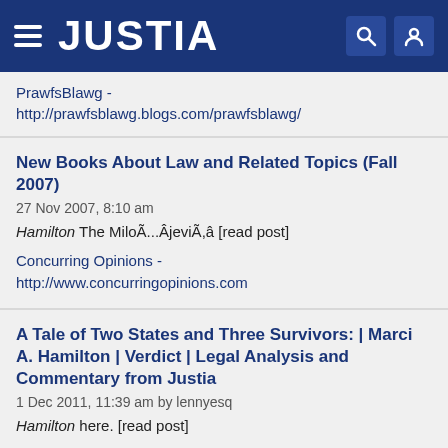[Figure (screenshot): Justia website header with hamburger menu, JUSTIA logo in white on dark blue background, search and user icons on the right]
PrawfsBlawg - http://prawfsblawg.blogs.com/prawfsblawg/
New Books About Law and Related Topics (Fall 2007)
27 Nov 2007, 8:10 am
Hamilton The MiloÃ...ÂjeviÃ,â [read post]
Concurring Opinions - http://www.concurringopinions.com
A Tale of Two States and Three Survivors:  | Marci A. Hamilton | Verdict | Legal Analysis and Commentary from Justia
1 Dec 2011, 11:39 am by lennyesq
Hamilton here. [read post]